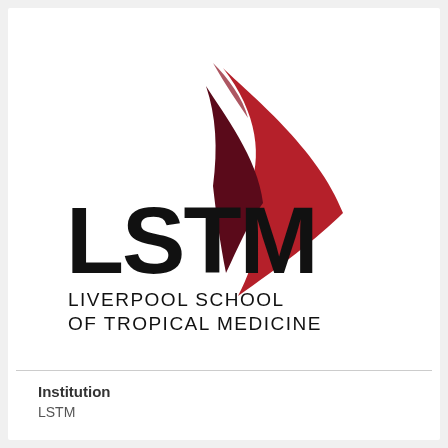[Figure (logo): LSTM Liverpool School of Tropical Medicine logo with red arrow/chevron graphic and bold LSTM text]
Institution
LSTM